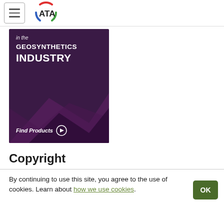ATA (logo navigation bar)
[Figure (illustration): Advertisement banner with dark purple background showing 'in the GEOSYNTHETICS INDUSTRY' text and 'Find Products' call to action with arrow circle icon and decorative geometric polygon shapes]
Copyright
Terms of Service
Privacy Policy
By continuing to use this site, you agree to the use of cookies. Learn about how we use cookies.